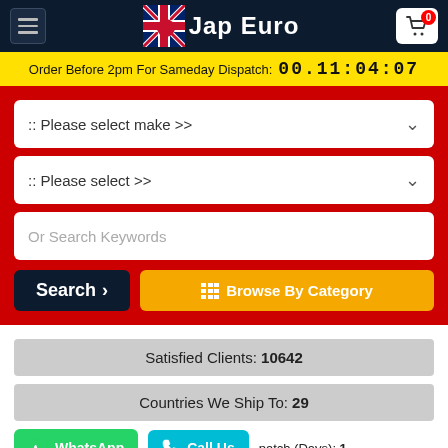Jap Euro
Order Before 2pm For Sameday Dispatch: 00.11:04:07
:: Please select make >>
:: Please select >>
Or Search Keywords
Search
Browse By Category
Satisfied Clients: 10642
Countries We Ship To: 29
WhatsApp
Call Us
patch (Days): 1